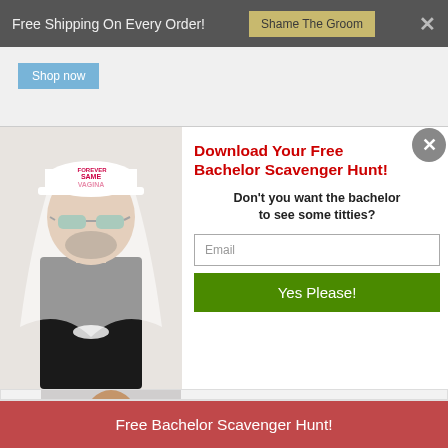Free Shipping On Every Order!  Shame The Groom  ×
Shop now
Download Your Free Bachelor Scavenger Hunt!
Don't you want the bachelor to see some titties?
[Figure (photo): Man wearing white baseball cap reading 'SAME VAGINA FOREVER' with sunglasses and a white veil, dressed in black tank top]
Email
Yes Please!
[Figure (photo): Man wearing dark t-shirt with white sash]
Free Bachelor Scavenger Hunt!